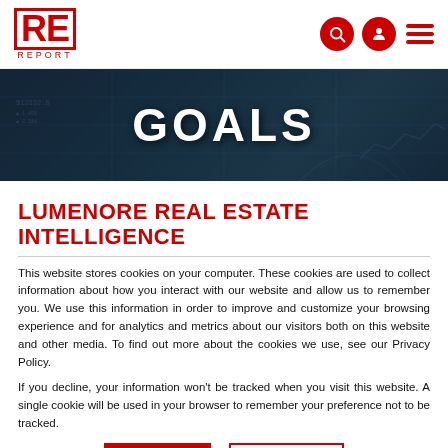RE REPORT
[Figure (photo): Dark aerial city/bridge background image with GOALS text overlay in white bold letters and financial data overlay]
LUMENORE REAL ESTATE INTELLIGENCE
This website stores cookies on your computer. These cookies are used to collect information about how you interact with our website and allow us to remember you. We use this information in order to improve and customize your browsing experience and for analytics and metrics about our visitors both on this website and other media. To find out more about the cookies we use, see our Privacy Policy.
If you decline, your information won't be tracked when you visit this website. A single cookie will be used in your browser to remember your preference not to be tracked.
Accept | Decline